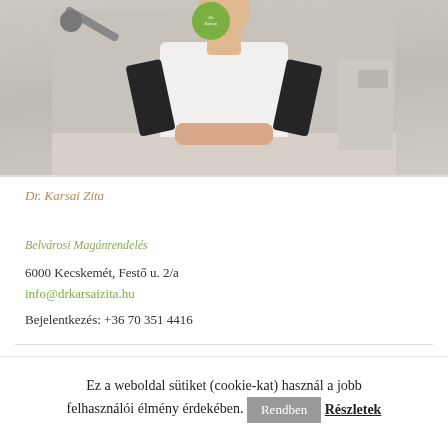[Figure (photo): Doctor in white coat sitting at a desk, with a green circular logo badge visible at the top]
Dr. Karsai Zita
Belvárosi Magánrendelés
6000 Kecskemét, Festő u. 2/a
info@drkarsaizita.hu
Bejelentkezés: +36 70 351 4416
KEDD 16:00 - 18:00
Ez a weboldal sütiket (cookie-kat) használ a jobb felhasználói élmény érdekében.